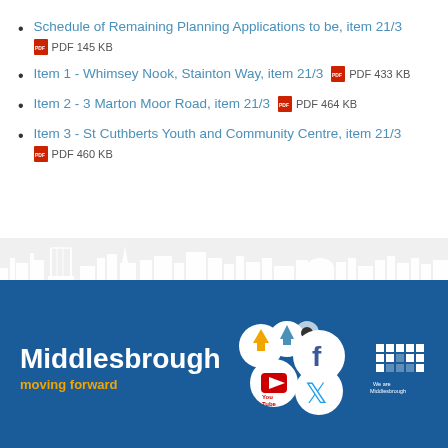Schedule of Remaining Planning Applications to be, item 21/3 PDF 145 KB
Item 1 - Whimsey Nook, Stainton Way, item 21/3 PDF 433 KB
Item 2 - 3 Marton Moor Road, item 21/3 PDF 464 KB
Item 3 - St Cuthberts Youth and Community Centre, item 21/3 PDF 460 KB
[Figure (illustration): Middlesbrough city skyline silhouette in white on dark blue background, with social media icons (Facebook, Twitter, YouTube, upload/share icons) and Middlesbrough branding including 'moving forward' tagline and 'We are Middlesbrough' logo]